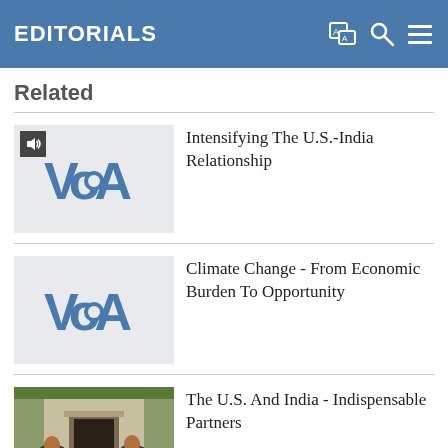EDITORIALS
Related
[Figure (logo): VOA logo thumbnail with speaker icon for article: Intensifying The U.S.-India Relationship]
Intensifying The U.S.-India Relationship
[Figure (logo): VOA logo thumbnail for article: Climate Change - From Economic Burden To Opportunity]
Climate Change - From Economic Burden To Opportunity
[Figure (photo): Photo of two men (one in grey jacket, one in suit) seated in an official room, for article: The U.S. And India - Indispensable Partners]
The U.S. And India - Indispensable Partners